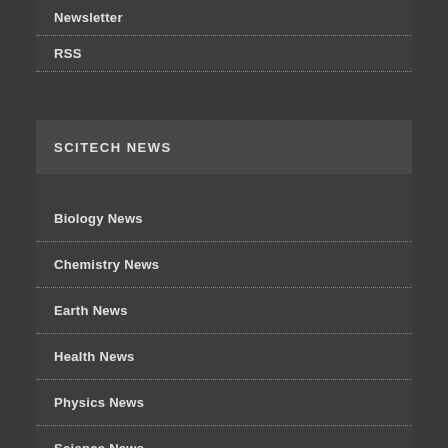Newsletter
RSS
SCITECH NEWS
Biology News
Chemistry News
Earth News
Health News
Physics News
Science News